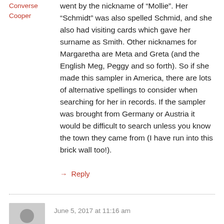Converse
Cooper
went by the nickname of “Mollie”. Her “Schmidt” was also spelled Schmid, and she also had visiting cards which gave her surname as Smith. Other nicknames for Margaretha are Meta and Greta (and the English Meg, Peggy and so forth). So if she made this sampler in America, there are lots of alternative spellings to consider when searching for her in records. If the sampler was brought from Germany or Austria it would be difficult to search unless you know the town they came from (I have run into this brick wall too!).
→ Reply
June 5, 2017 at 11:16 am